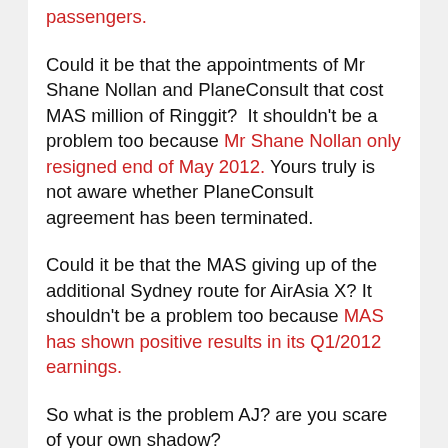passengers.
Could it be that the appointments of Mr Shane Nollan and PlaneConsult that cost MAS million of Ringgit?  It shouldn't be a problem too because Mr Shane Nollan only resigned end of May 2012. Yours truly is not aware whether PlaneConsult agreement has been terminated.
Could it be that the MAS giving up of the additional Sydney route for AirAsia X? It shouldn't be a problem too because MAS has shown positive results in its Q1/2012 earnings.
So what is the problem AJ? are you scare of your own shadow?
It had to be the leakages through comments on blogsphere about his good